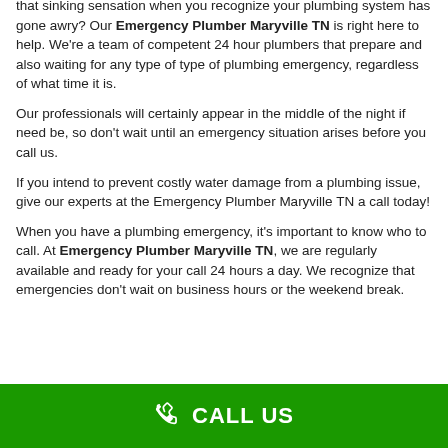that sinking sensation when you recognize your plumbing system has gone awry? Our Emergency Plumber Maryville TN is right here to help. We're a team of competent 24 hour plumbers that prepare and also waiting for any type of type of plumbing emergency, regardless of what time it is.
Our professionals will certainly appear in the middle of the night if need be, so don't wait until an emergency situation arises before you call us.
If you intend to prevent costly water damage from a plumbing issue, give our experts at the Emergency Plumber Maryville TN a call today!
When you have a plumbing emergency, it's important to know who to call. At Emergency Plumber Maryville TN, we are regularly available and ready for your call 24 hours a day. We recognize that emergencies don't wait on business hours or the weekend break.
CALL US